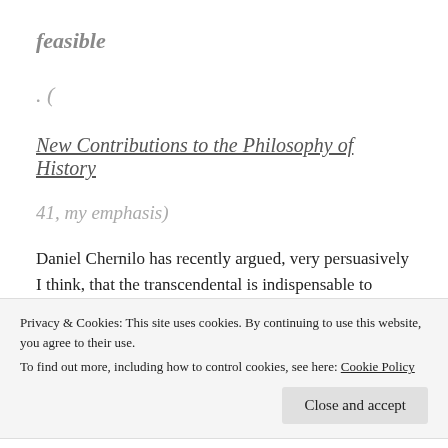feasible
. (
New Contributions to the Philosophy of History
41, my emphasis)
Daniel Chernilo has recently argued, very persuasively I think, that the transcendental is indispensable to modern social theory in practice, if not always in theory. See his The Natural Law...
Privacy & Cookies: This site uses cookies. By continuing to use this website, you agree to their use. To find out more, including how to control cookies, see here: Cookie Policy
Close and accept
There's a review of Chernilo coming up in Journal of Critical